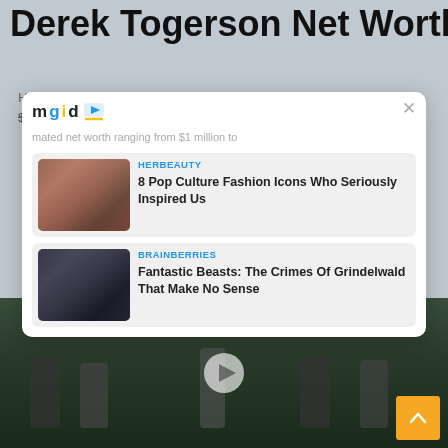Derek Togerson Net Worth
He has an estimated net worth ranging from $1 million to $5 million
[Figure (screenshot): MGID advertisement overlay showing two content recommendation cards. First card from HERBEAUTY: '8 Pop Culture Fashion Icons Who Seriously Inspired Us' with a photo of a woman in period costume. Second card from BRAINBERRIES: 'Fantastic Beasts: The Crimes Of Grindelwald That Make No Sense' with a movie still.]
[Figure (screenshot): Video thumbnail at bottom showing people on a sports field/court with a play button overlay and a yellow scroll-up button.]